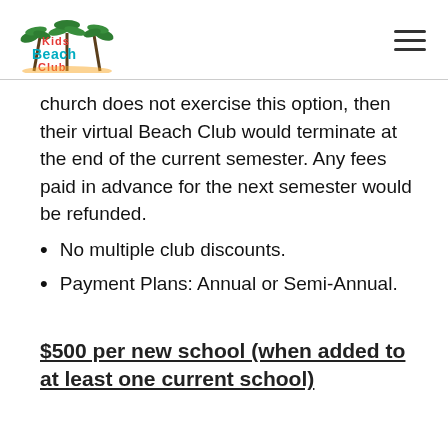[Figure (logo): Kids Beach Club logo with palm trees]
church does not exercise this option, then their virtual Beach Club would terminate at the end of the current semester. Any fees paid in advance for the next semester would be refunded.
No multiple club discounts.
Payment Plans: Annual or Semi-Annual.
$500 per new school (when added to at least one current school)